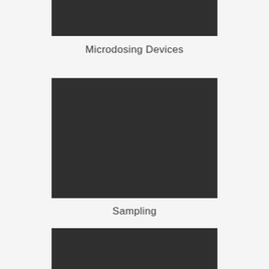[Figure (photo): Dark rectangular image block at top of page, partially cropped]
Microdosing Devices
[Figure (photo): Dark rectangular image block in middle of page]
Sampling
[Figure (photo): Dark rectangular image block at bottom of page, partially cropped]